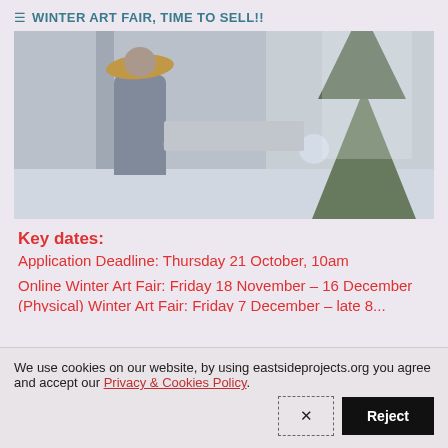≡ WINTER ART FAIR, TIME TO SELL!!
[Figure (photo): A person in a conical hat and winter clothing operating a spray hose next to a snow-covered Christmas tree against a grey wall background — appears to be artificial snow being applied.]
Key dates:
Application Deadline: Thursday 21 October, 10am
Online Winter Art Fair: Friday 18 November – 16 December
(Physical) Winter Art Fair: Friday 7 December ...
We use cookies on our website, by using eastsideprojects.org you agree and accept our Privacy & Cookies Policy.